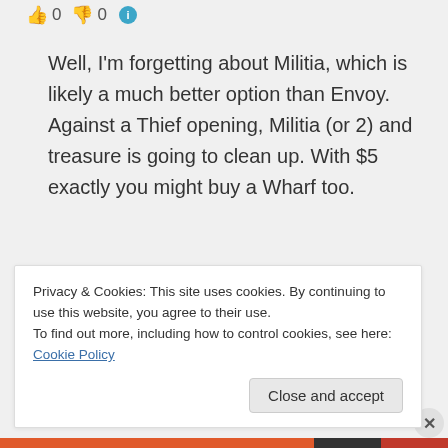[Figure (other): Thumbs up emoji, number 0, thumbs down emoji, number 0, info icon]
Well, I'm forgetting about Militia, which is likely a much better option than Envoy. Against a Thief opening, Militia (or 2) and treasure is going to clean up. With $5 exactly you might buy a Wharf too.
↪ Reply
Privacy & Cookies: This site uses cookies. By continuing to use this website, you agree to their use.
To find out more, including how to control cookies, see here: Cookie Policy
Close and accept